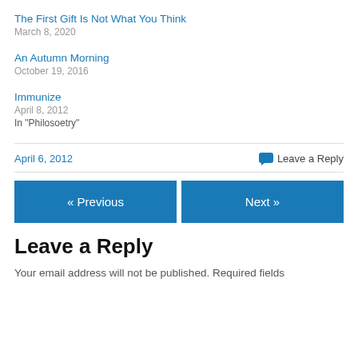The First Gift Is Not What You Think
March 8, 2020
An Autumn Morning
October 19, 2016
Immunize
April 8, 2012
In "Philosoetry"
April 6, 2012
Leave a Reply
« Previous
Next »
Leave a Reply
Your email address will not be published. Required fields